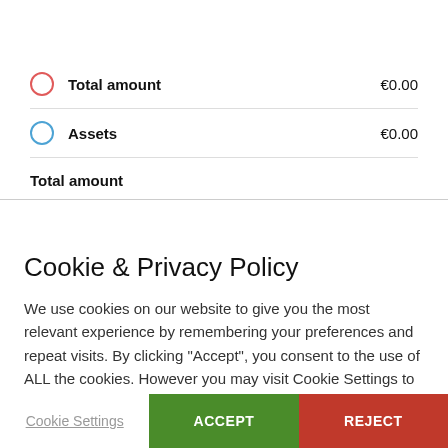Total amount €0.00
Assets €0.00
Total amount
Cookie & Privacy Policy
We use cookies on our website to give you the most relevant experience by remembering your preferences and repeat visits. By clicking “Accept”, you consent to the use of ALL the cookies. However you may visit Cookie Settings to provide a controlled consent.
Cookie Settings | ACCEPT | REJECT